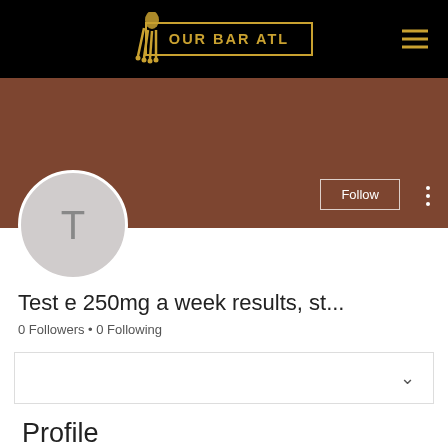OUR BAR ATL
[Figure (screenshot): User profile cover image in brown/rust color with Follow button and three-dot menu]
Test e 250mg a week results, st...
0 Followers • 0 Following
Profile
Join date: May 17, 2022